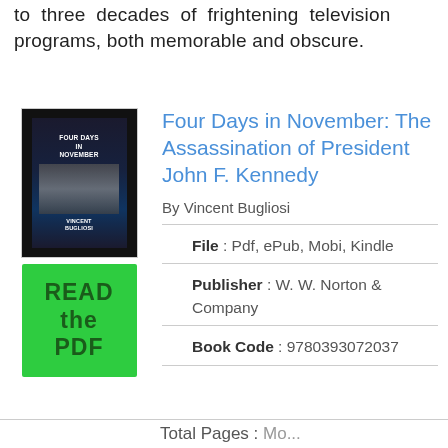to three decades of frightening television programs, both memorable and obscure.
Four Days in November: The Assassination of President John F. Kennedy
By Vincent Bugliosi
File : Pdf, ePub, Mobi, Kindle
Publisher : W. W. Norton & Company
Book Code : 9780393072037